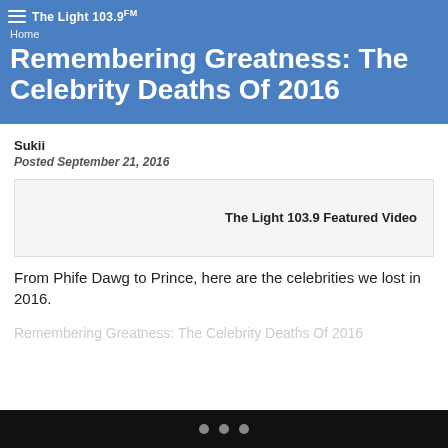Home
The Light 103.9 FM
Remembering Greatness: The Celebrity Deaths Of 2016
Sukii
Posted September 21, 2016
[Figure (other): The Light 103.9 Featured Video player box]
From Phife Dawg to Prince, here are the celebrities we lost in 2016.
Remembering Greatness: The Celebrity Deaths Of 2016